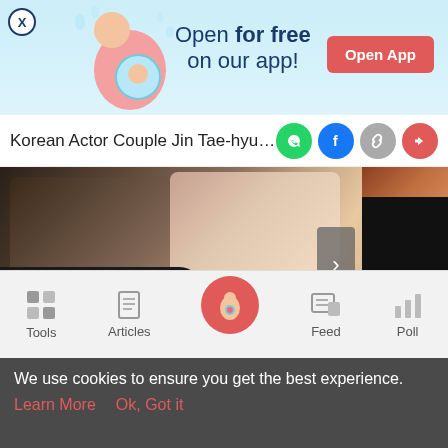[Figure (screenshot): App promotion banner with pregnancy illustration, 'Open for free on our app!' text and 'Open App' red button]
Korean Actor Couple Jin Tae-hyun an
[Figure (photo): Photo of a Korean actor couple, man in black jacket, woman with light hair, and a second image of food]
[Figure (screenshot): Ad for Crumbl Cookies - Ashburn: Gourmet, Fresh, Big Cookies]
Tools | Articles | [Home] | Feed | Poll
We use cookies to ensure you get the best experience.
Learn More   Ok, Got it